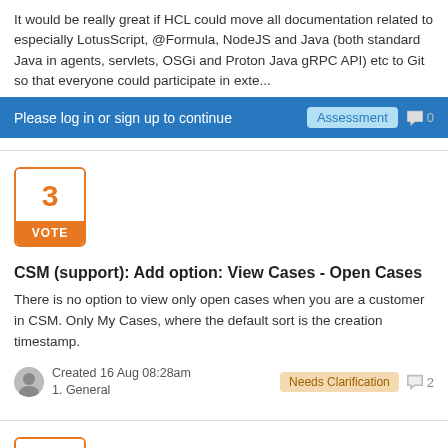It would be really great if HCL could move all documentation related to especially LotusScript, @Formula, NodeJS and Java (both standard Java in agents, servlets, OSGi and Proton Java gRPC API) etc to Git so that everyone could participate in exte...
Please log in or sign up to continue
Assessment  0
3 VOTE
CSM (support): Add option: View Cases - Open Cases
There is no option to view only open cases when you are a customer in CSM. Only My Cases, where the default sort is the creation timestamp.
Created 16 Aug 08:28am
1. General
Needs Clarification  2
17